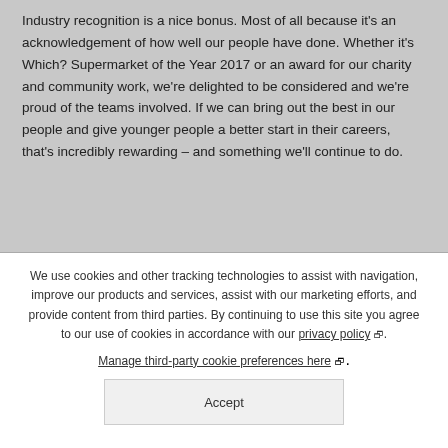Industry recognition is a nice bonus. Most of all because it's an acknowledgement of how well our people have done. Whether it's Which? Supermarket of the Year 2017 or an award for our charity and community work, we're delighted to be considered and we're proud of the teams involved. If we can bring out the best in our people and give younger people a better start in their careers, that's incredibly rewarding – and something we'll continue to do.
We use cookies and other tracking technologies to assist with navigation, improve our products and services, assist with our marketing efforts, and provide content from third parties. By continuing to use this site you agree to our use of cookies in accordance with our privacy policy. Manage third-party cookie preferences here.